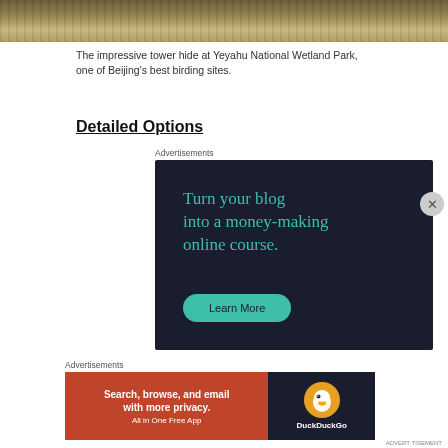[Figure (photo): Top portion of a photo showing Yeyahu National Wetland Park tower hide, with grassy/reedy wetland vegetation in earthy tones]
The impressive tower hide at Yeyahu National Wetland Park, one of Beijing's best birding sites.
Detailed Options
Advertisements
[Figure (screenshot): Dark navy advertisement: 'Turn your blog into a money-making online course.' with a teal 'Learn More' button]
Advertisements
[Figure (screenshot): DuckDuckGo advertisement: 'Search, browse, and email with more privacy. All in One Free App' on orange background with DuckDuckGo logo on dark background]